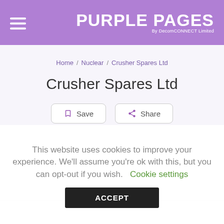PURPLE PAGES By DecomCONNECT Limited
Home / Nuclear / Crusher Spares Ltd
Crusher Spares Ltd
Save  Share
This website uses cookies to improve your experience. We'll assume you're ok with this, but you can opt-out if you wish.  Cookie settings  ACCEPT